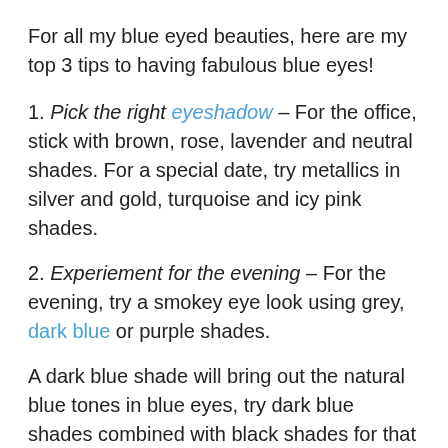For all my blue eyed beauties, here are my top 3 tips to having fabulous blue eyes!
1. Pick the right eyeshadow – For the office, stick with brown, rose, lavender and neutral shades. For a special date, try metallics in silver and gold, turquoise and icy pink shades.
2. Experiement for the evening – For the evening, try a smokey eye look using grey, dark blue or purple shades.
A dark blue shade will bring out the natural blue tones in blue eyes, try dark blue shades combined with black shades for that wow factor.
3. Tone down your lips – Emphasize your gorgeous blue eyes, whether they are pale blue or deep sapphire, by toning down your lip color. Pick a matte lipstick in a